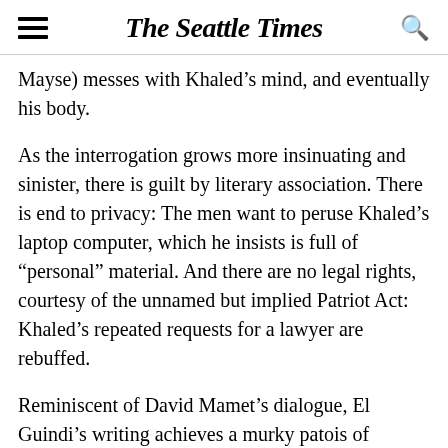The Seattle Times
Mayse) messes with Khaled’s mind, and eventually his body.
As the interrogation grows more insinuating and sinister, there is guilt by literary association. There is end to privacy: The men want to peruse Khaled’s laptop computer, which he insists is full of “personal” material. And there are no legal rights, courtesy of the unnamed but implied Patriot Act: Khaled’s repeated requests for a lawyer are rebuffed.
Reminiscent of David Mamet’s dialogue, El Guindi’s writing achieves a murky patois of bureaucratic double talk and double-think, laced with aggressive menace. “Your ethnicity has nothing do with this.”